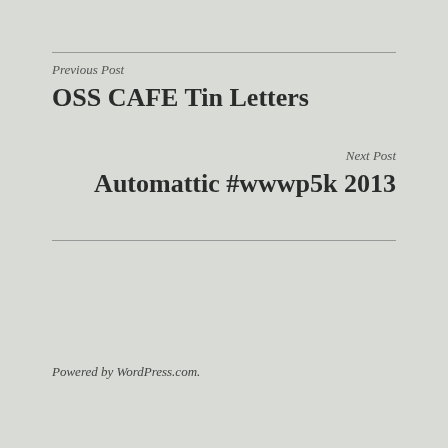Previous Post
OSS CAFE Tin Letters
Next Post
Automattic #wwwp5k 2013
Powered by WordPress.com.